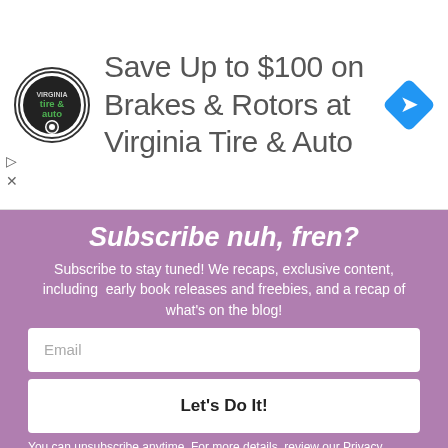[Figure (other): Advertisement banner for Virginia Tire & Auto showing logo, text 'Save Up to $100 on Brakes & Rotors at Virginia Tire & Auto', and a blue diamond navigation icon]
Subscribe nuh, fren?
Subscribe to stay tuned! We recaps, exclusive content, including early book releases and freebies, and a recap of what's on the blog!
Email
Let's Do It!
You can unsubscribe anytime. For more details, review our Privacy Policy.